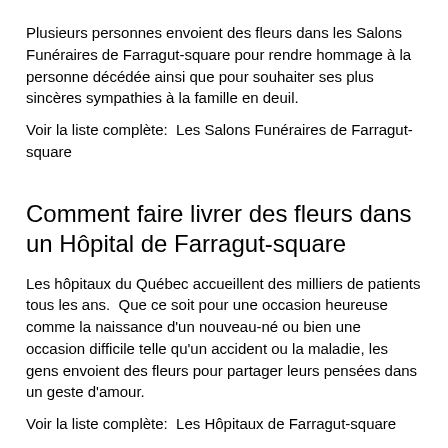Plusieurs personnes envoient des fleurs dans les Salons Funéraires de Farragut-square pour rendre hommage à la personne décédée ainsi que pour souhaiter ses plus sincères sympathies à la famille en deuil.
Voir la liste complète:  Les Salons Funéraires de Farragut-square
Comment faire livrer des fleurs dans un Hôpital de Farragut-square
Les hôpitaux du Québec accueillent des milliers de patients tous les ans.  Que ce soit pour une occasion heureuse comme la naissance d'un nouveau-né ou bien une occasion difficile telle qu'un accident ou la maladie, les gens envoient des fleurs pour partager leurs pensées dans un geste d'amour.
Voir la liste complète:  Les Hôpitaux de Farragut-square